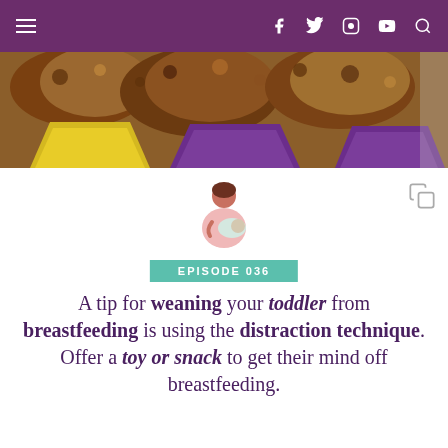≡  f  Twitter  Instagram  YouTube  Search
[Figure (photo): Close-up photo of baked muffins in yellow and purple cupcake liners, showing crumbly brown tops]
[Figure (illustration): Small illustration of a woman breastfeeding a baby, pink and teal colors]
EPISODE 036
A tip for weaning your toddler from breastfeeding is using the distraction technique. Offer a toy or snack to get their mind off breastfeeding.